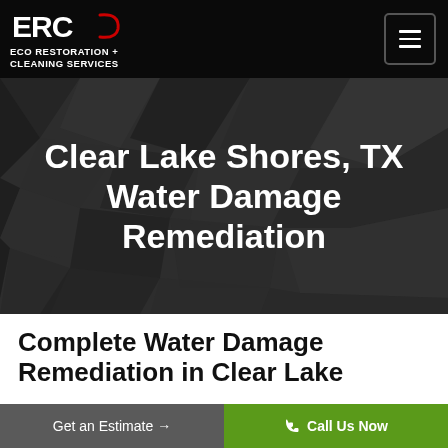ECO RESTORATION + CLEANING SERVICES
Clear Lake Shores, TX Water Damage Remediation
Complete Water Damage Remediation in Clear Lake Shores, TX
Get an Estimate →
Call Us Now